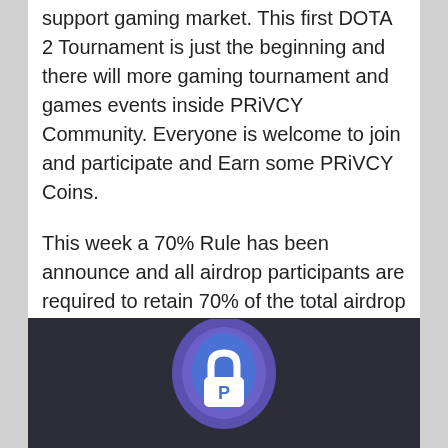support gaming market. This first DOTA 2 Tournament is just the beginning and there will more gaming tournament and games events inside PRiVCY Community. Everyone is welcome to join and participate and Earn some PRiVCY Coins.
This week a 70% Rule has been announce and all airdrop participants are required to retain 70% of the total airdrop they receive. This will force people to hold the coins and all dumpers will receive less everyweek.
[Figure (logo): PRiVCY coin logo — a shield/lock icon in blue and purple tones on a dark background]